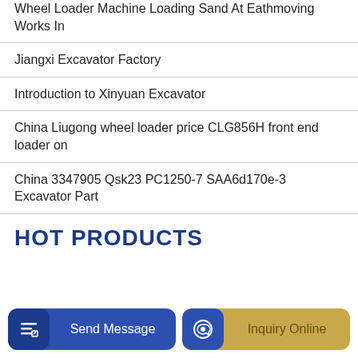Wheel Loader Machine Loading Sand At Eathmoving Works In
Jiangxi Excavator Factory
Introduction to Xinyuan Excavator
China Liugong wheel loader price CLG856H front end loader on
China 3347905 Qsk23 PC1250-7 SAA6d170e-3 Excavator Part
HOT PRODUCTS
Send Message
Inquiry Online